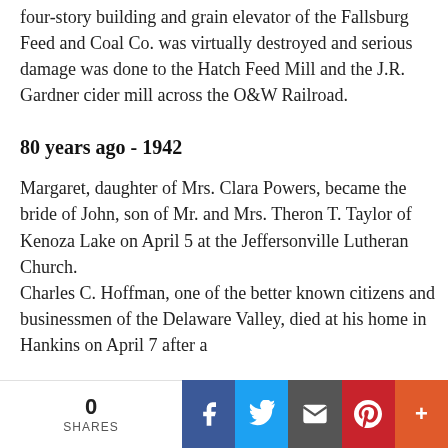four-story building and grain elevator of the Fallsburg Feed and Coal Co. was virtually destroyed and serious damage was done to the Hatch Feed Mill and the J.R. Gardner cider mill across the O&W Railroad.
80 years ago - 1942
Margaret, daughter of Mrs. Clara Powers, became the bride of John, son of Mr. and Mrs. Theron T. Taylor of Kenoza Lake on April 5 at the Jeffersonville Lutheran Church. Charles C. Hoffman, one of the better known citizens and businessmen of the Delaware Valley, died at his home in Hankins on April 7 after a
0 SHARES | Facebook | Twitter | Email | Pinterest | More